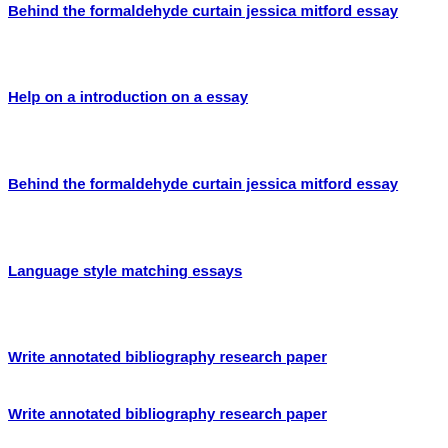Behind the formaldehyde curtain jessica mitford essay
Help on a introduction on a essay
Behind the formaldehyde curtain jessica mitford essay
Language style matching essays
Write annotated bibliography research paper
Write annotated bibliography research paper